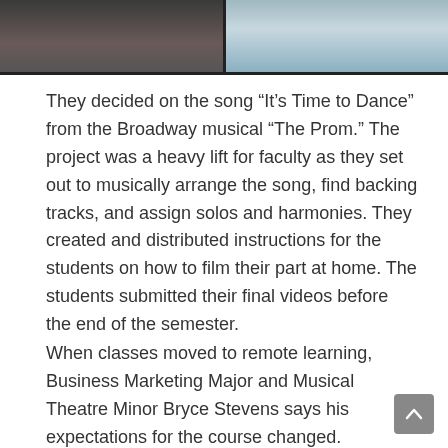[Figure (photo): Two-panel photo strip at top: left panel shows a person with dark hair against a dark background, right panel shows a person in a blue and white checkered outfit outdoors]
They decided on the song “It’s Time to Dance” from the Broadway musical “The Prom.” The project was a heavy lift for faculty as they set out to musically arrange the song, find backing tracks, and assign solos and harmonies. They created and distributed instructions for the students on how to film their part at home. The students submitted their final videos before the end of the semester.
When classes moved to remote learning, Business Marketing Major and Musical Theatre Minor Bryce Stevens says his expectations for the course changed.